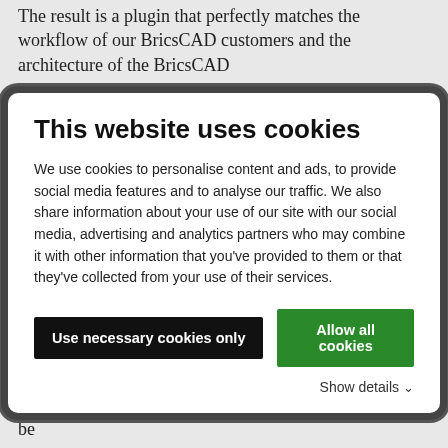The result is a plugin that perfectly matches the workflow of our BricsCAD customers and the architecture of the BricsCAD
[Figure (screenshot): Cookie consent modal popup with title 'This website uses cookies', body text about cookie usage, two buttons ('Use necessary cookies only' and 'Allow all cookies'), and a 'Show details' link.]
structure of the BricsCAD software. That is why there is the function to fix axes. In principle, single or multiple axes can be fixed, depending on what is needed at the moment.  For example, the x and y-axis can be fixed if heights are to be